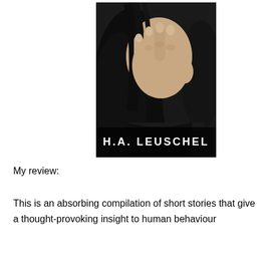[Figure (photo): Book cover for H.A. Leuschel showing a dark-haired person covering their face with their hand, with white text 'H.A. LEUSCHEL' at the bottom on a dark background.]
My review:
This is an absorbing compilation of short stories that give a thought-provoking insight to human behaviour